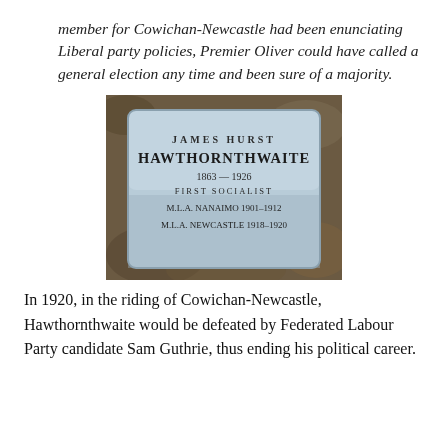member for Cowichan-Newcastle had been enunciating Liberal party policies, Premier Oliver could have called a general election any time and been sure of a majority.
[Figure (photo): Photograph of a metal memorial plaque reading: JAMES HURST HAWTHORNTHWAITE 1863 — 1926 FIRST SOCIALIST M.L.A. NANAIMO 1901–1912 M.L.A. NEWCASTLE 1918–1920]
In 1920, in the riding of Cowichan-Newcastle, Hawthornthwaite would be defeated by Federated Labour Party candidate Sam Guthrie, thus ending his political career.